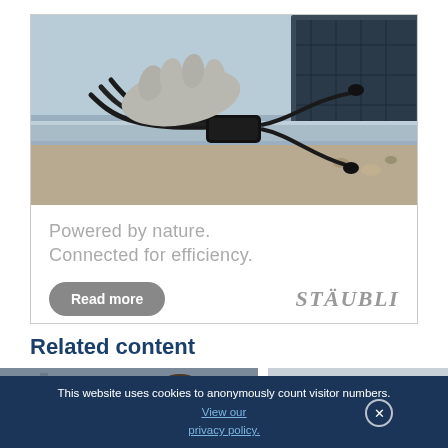[Figure (photo): Advertisement box showing solar panel cables and connectors with work gloves on a metal rail, with text 'Powered by nature. Connected for efficiency.' and a Read more button and Stäubli logo]
Related content
[Figure (photo): Photo of a man wearing a face mask in an industrial setting]
[Figure (photo): Photo of an American flag against a grey sky with power lines]
This website uses cookies to anonymously count visitor numbers. View our privacy policy.